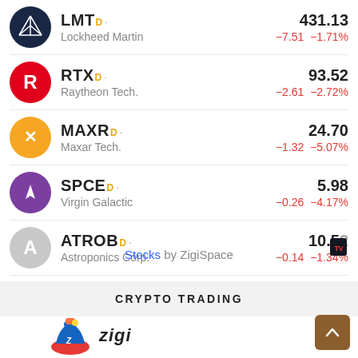LMT Lockheed Martin 431.13 -7.51 -1.71%
RTX Raytheon Tech. 93.52 -2.61 -2.72%
MAXR Maxar Tech. 24.70 -1.32 -5.07%
SPCE Virgin Galactic 5.98 -0.26 -4.17%
ATROB Astroponics Corp. 10.52 -0.14 -1.34%
Stocks by ZigiSpace
CRYPTO TRADING
[Figure (logo): Zigi mascot logo with hat and text 'zigi']